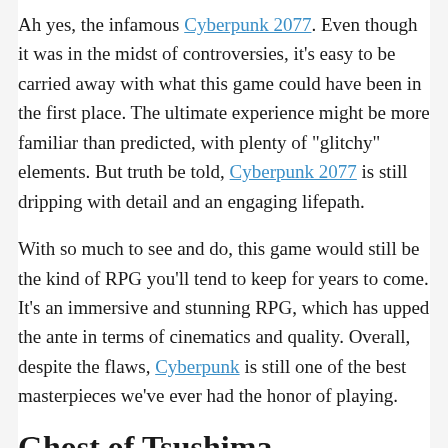Ah yes, the infamous Cyberpunk 2077. Even though it was in the midst of controversies, it’s easy to be carried away with what this game could have been in the first place. The ultimate experience might be more familiar than predicted, with plenty of “glitchy” elements. But truth be told, Cyberpunk 2077 is still dripping with detail and an engaging lifepath.
With so much to see and do, this game would still be the kind of RPG you’ll tend to keep for years to come. It’s an immersive and stunning RPG, which has upped the ante in terms of cinematics and quality. Overall, despite the flaws, Cyberpunk is still one of the best masterpieces we’ve ever had the honor of playing.
Ghost of Tsushima
Personal Rating: 9/10